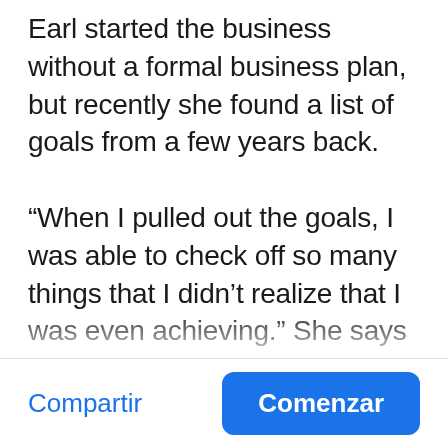Earl started the business without a formal business plan, but recently she found a list of goals from a few years back.

“When I pulled out the goals, I was able to check off so many things that I didn’t realize that I was even achieving.” She says that while she didn’t realize she was checking them off, she’d advise others to start with a goal list as well. “Make sure that they’re realistic, because a lot of times we put things down on paper that
Compartir | Comenzar